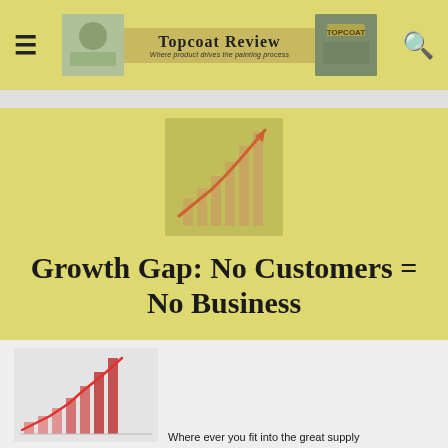Topcoat Review — Where product drives the painting process
Growth Gap: No Customers = No Business
[Figure (illustration): Bar chart growth illustration with upward arrow, used as article thumbnail in content area]
Where ever you fit into the great supply